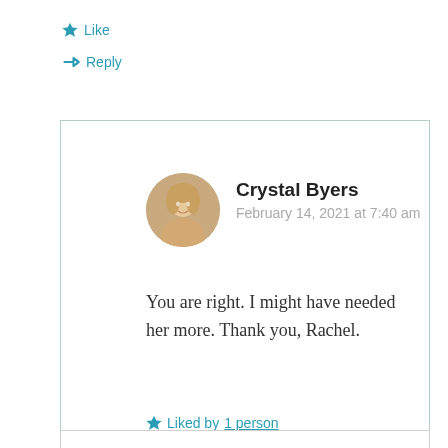Like
Reply
Crystal Byers
February 14, 2021 at 7:40 am
You are right. I might have needed her more. Thank you, Rachel.
Liked by 1 person
Reply